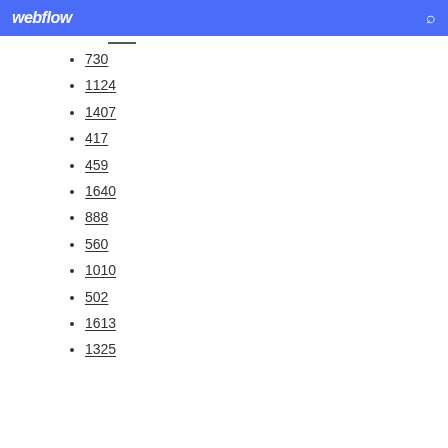webflow
730
1124
1407
417
459
1640
888
560
1010
502
1613
1325